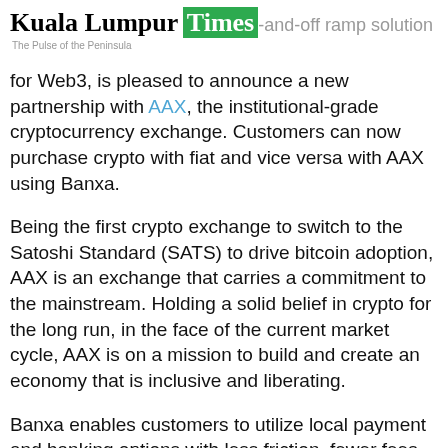Kuala Lumpur Times — The Pulse of the Peninsula
…and-off ramp solution for Web3, is pleased to announce a new partnership with AAX, the institutional-grade cryptocurrency exchange. Customers can now purchase crypto with fiat and vice versa with AAX using Banxa.
Being the first crypto exchange to switch to the Satoshi Standard (SATS) to drive bitcoin adoption, AAX is an exchange that carries a commitment to the mainstream. Holding a solid belief in crypto for the long run, in the face of the current market cycle, AAX is on a mission to build and create an economy that is inclusive and liberating.
Banxa enables customers to utilize local payment and banking options with less friction, fewer fees, and better fraud protection. In addition, users can quickly and securely convert fiat currency to cryptocurrencies and back again.